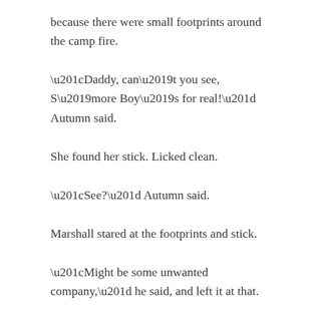because there were small footprints around the camp fire.
“Daddy, can’t you see, S’more Boy’s for real!” Autumn said.
She found her stick. Licked clean.
“See?” Autumn said.
Marshall stared at the footprints and stick.
“Might be some unwanted company,” he said, and left it at that.
Camping that day was little different than it had been the day before, including the relentlessness of the heat